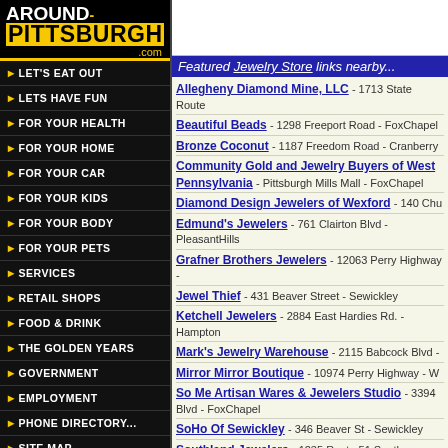[Figure (logo): Around-Pittsburgh.com logo with yellow Pittsburgh text on black background]
LET'S EAT OUT
LETS HAVE FUN
FOR YOUR HEALTH
FOR YOUR HOME
FOR YOUR CAR
FOR YOUR KIDS
FOR YOUR BODY
FOR YOUR PETS
SERVICES
RETAIL SHOPS
FOOD & DRINK
THE GOLDEN YEARS
GOVERNMENT
EMPLOYMENT
PHONE DIRECTORY...
SITE MAP
Featured Jewelry Store links nearby...
Allegheny Diamond Mine, LLC - 1713 State Route
Beautiful Beads - 1298 Freeport Road - FoxChapel
Bronze Coconut - 1187 Freedom Road - Cranberry
Community Gold and Jewelry Buyers of West Pennsylvania - Pittsburgh Mills Mall - FoxChapel
Diamond Design Jewelers of Wexford - 140 Chu
Edmund's Jewelers - 761 Clairton Blvd - PleasantHills
Grafner Brothers Jewelers - 12063 Perry Highway -
Jewel Thief - 431 Beaver Street - Sewickley
Ketchell Jewelers - 2884 East Hardies Rd. - Hampton
Mark's Jewelry Warehouse - 2115 Babcock Blvd -
Mirror Mirror Boutique - 10974 Perry Highway - W
So Me Artisan Wares & Jewelers Studio - 3394 Blvd - FoxChapel
SoHo Of Sewickley - 346 Beaver St - Sewickley
Southland Jewelers - 1235 Route 51 South - JeffersonH
St. Clair Jewelers - 1037 Waterdam Plaza - UpperStCla
The Gold Buyers of Pittsburgh - 7206 McKnight R
The Gold Buyers of Pittsburgh - 4004 William Penn Hwy - Monroeville